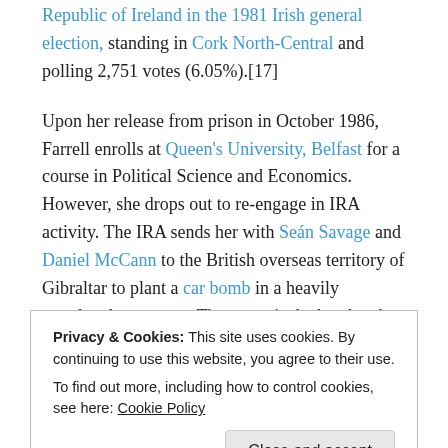Republic of Ireland in the 1981 Irish general election, standing in Cork North-Central and polling 2,751 votes (6.05%).[17]
Upon her release from prison in October 1986, Farrell enrolls at Queen's University, Belfast for a course in Political Science and Economics. However, she drops out to re-engage in IRA activity. The IRA sends her with Seán Savage and Daniel McCann to the British overseas territory of Gibraltar to plant a car bomb in a heavily populated town area. The target is the band and guard of the 1st Battalion of the Royal Anglian Regiment during a weekly ceremonial changing of the guard in front of
Privacy & Cookies: This site uses cookies. By continuing to use this website, you agree to their use.
To find out more, including how to control cookies, see here: Cookie Policy
elsewhere due to the IRA's campaign.